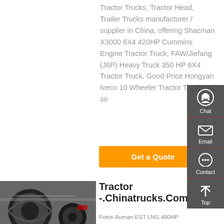Tractor Trucks, Tractor Head, Trailer Trucks manufacturer / supplier in China, offering Shacman X3000 6X4 420HP Cummins Engine Tractor Truck, FAW/Jiefang (J6P) Heavy Truck 350 HP 6X4 Tractor Truck, Good Price Hongyan Iveco 10 Wheeler Tractor Truck and so
[Figure (other): Orange 'Get a Quote' button]
[Figure (photo): Bottom view of a truck chassis showing tires/wheels from underneath]
Tractor-.Chinatrucks.Com
Foton Auman EST LNG 460HP
[Figure (infographic): Dark grey sidebar panel with Chat (headset icon), Email (envelope icon), Contact (chat bubble icon), and Top (arrow icon) buttons]